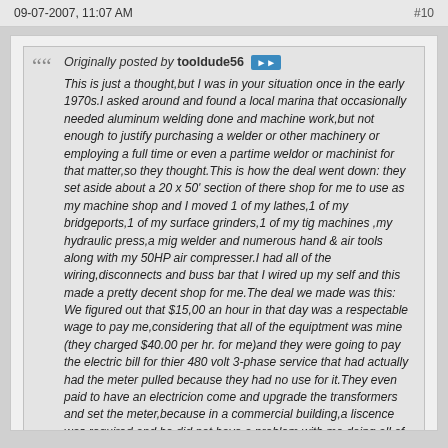09-07-2007, 11:07 AM    #10
Originally posted by tooldude56

This is just a thought,but I was in your situation once in the early 1970s.I asked around and found a local marina that occasionally needed aluminum welding done and machine work,but not enough to justify purchasing a welder or other machinery or employing a full time or even a partime weldor or machinist for that matter,so they thought.This is how the deal went down: they set aside about a 20 x 50' section of there shop for me to use as my machine shop and I moved 1 of my lathes,1 of my bridgeports,1 of my surface grinders,1 of my tig machines ,my hydraulic press,a mig welder and numerous hand & air tools along with my 50HP air compresser.I had all of the wiring,disconnects and buss bar that I wired up my self and this made a pretty decent shop for me.The deal we made was this: We figured out that $15,00 an hour in that day was a respectable wage to pay me,considering that all of the equiptment was mine (they charged $40.00 per hr. for me)and they were going to pay the electric bill for thier 480 volt 3-phase service that had actually had the meter pulled because they had no use for it.They even paid to have an electricion come and upgrade the transformers and set the meter,because in a commercial building,a liscence was required and he did not have a problem with me doing all of the wiring,then using his license to get everything inspected,so it was a sweet deal.This deal went on for near 15 years ,but I started working 10 or 15